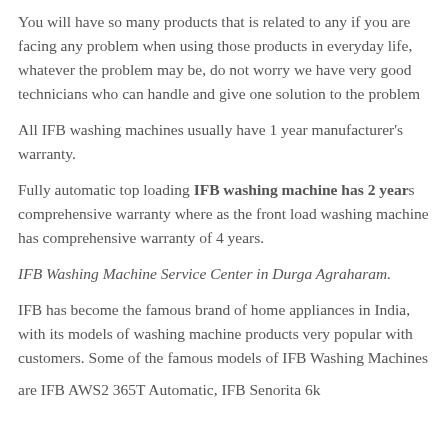You will have so many products that is related to any if you are facing any problem when using those products in everyday life, whatever the problem may be, do not worry we have very good technicians who can handle and give one solution to the problem
All IFB washing machines usually have 1 year manufacturer's warranty.
Fully automatic top loading IFB washing machine has 2 years comprehensive warranty where as the front load washing machine has comprehensive warranty of 4 years.
IFB Washing Machine Service Center in Durga Agraharam.
IFB has become the famous brand of home appliances in India, with its models of washing machine products very popular with customers. Some of the famous models of IFB Washing Machines are IFB AWS2 365T Automatic, IFB Executive 6kg...